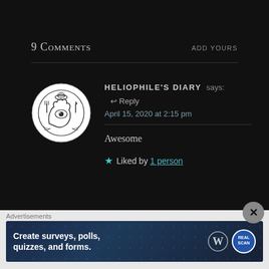9 Comments
ADD YOURS
HELIOPHILE'S DIARY says: ↩ Reply
April 15, 2020 at 2:15 pm
[Figure (illustration): Circular avatar with illustrative black and white design showing an eye, a hand, and decorative elements on white background]
Awesome
★ Liked by 1 person
Advertisements
Create surveys, polls, quizzes, and forms.